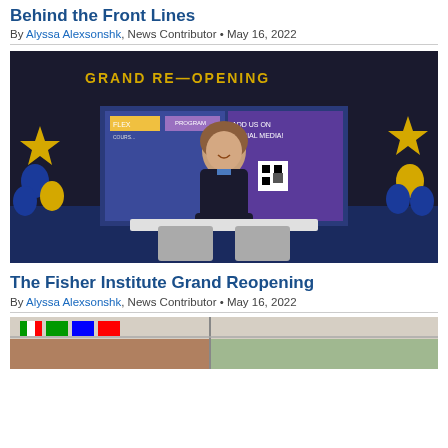Behind the Front Lines
By Alyssa Alexsonshk, News Contributor • May 16, 2022
[Figure (photo): Woman smiling at a table in front of a Grand Re-Opening banner with blue and gold balloons, at the Fisher Institute event.]
The Fisher Institute Grand Reopening
By Alyssa Alexsonshk, News Contributor • May 16, 2022
[Figure (photo): Partial view of an indoor scene with colorful flags visible through a window.]